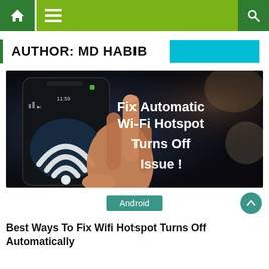Navigation bar with home icon, menu icon, and search icon
AUTHOR: MD HABIB
[Figure (photo): A hand holding a smartphone displaying a Wi-Fi hotspot symbol, with overlaid text: Fix Automatic Wi-Fi Hotspot Turns Off Issue!]
Android
Best Ways To Fix Wifi Hotspot Turns Off Automatically